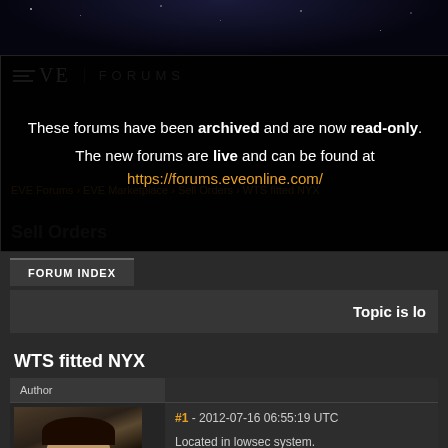[Figure (screenshot): EVE Online Forums archived page showing WTS fitted NYX forum post]
EVE FORUMS
These forums have been archived and are now read-only.
The new forums are live and can be found at https://forums.eveonline.com/
EVE Forums > EVE Marketplace > Sell Orders > WTS fitted NYX
Sell Orders
FORUM INDEX
Topic is lo
WTS fitted NYX
| Author |  |
| --- | --- |
| [avatar image] | #1 - 2012-07-16 06:55:19 UTC
Located in lowsec system.

[Nyx, Nyx]
Damage Control II |
#1 - 2012-07-16 06:55:19 UTC
Located in lowsec system.
[Nyx, Nyx]
Damage Control II